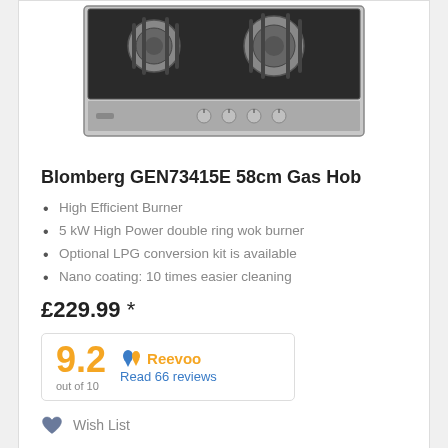[Figure (photo): Blomberg GEN73415E 58cm Gas Hob product image showing a stainless steel gas hob with 4 burners and control knobs]
Blomberg GEN73415E 58cm Gas Hob
High Efficient Burner
5 kW High Power double ring wok burner
Optional LPG conversion kit is available
Nano coating: 10 times easier cleaning
£229.99 *
[Figure (logo): Reevoo rating widget showing 9.2 out of 10 with link to Read 66 reviews]
Wish List
[Figure (photo): Bottom product card showing a black induction hob with circular burner markings]